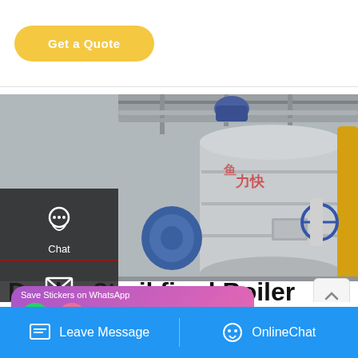[Figure (screenshot): Website screenshot showing a 'Get a Quote' button at top, a large industrial boiler plant image in the center, a dark sidebar with Chat/Email/Contact icons, a title text 'Dealer 8t oil fired Boiler Plant ...arus', a WhatsApp popup overlay, and a blue bottom bar with Leave Message and OnlineChat buttons.]
Dealer 8t oil fired Boiler Plant ...arus
Leave Message   OnlineChat